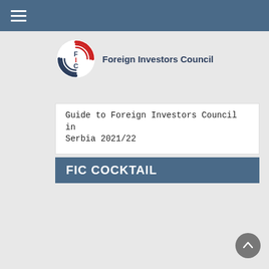≡
[Figure (logo): Foreign Investors Council logo with circular red/dark emblem and text 'FIC' inside, next to bold text 'Foreign Investors Council']
Guide to Foreign Investors Council in Serbia 2021/22
FIC COCKTAIL
[Figure (photo): A man in a red blazer holding a microphone stands outdoors in front of a banner showing 'A1' in large orange letters and the Foreign Investors Council logo.]